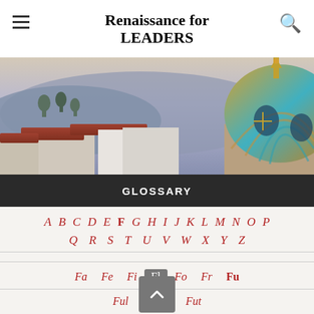Renaissance for LEADERS
[Figure (photo): Scenic view of a city skyline at dusk with a golden dome building on the right and hills in the background]
GLOSSARY
A B C D E F G H I J K L M N O P Q R S T U V W X Y Z
Fa Fe Fi Fl Fo Fr Fu
Ful Fun Fut